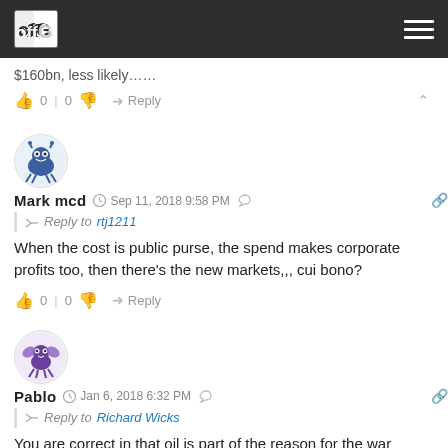OffG header navigation
$160bn, less likely……
0 | 0  Reply
[Figure (illustration): Blue monster avatar icon for user Mark mcd]
Mark mcd  Sep 11, 2018 9:58 PM  Reply to rtj1211
When the cost is public purse, the spend makes corporate profits too, then there's the new markets,,, cui bono?
0 | 0  Reply
[Figure (illustration): Purple butterfly/monster avatar icon for user Pablo]
Pablo  Jan 6, 2018 6:32 PM  Reply to Richard Wicks
You are correct in that oil is part of the reason for the war against Syria, but there is much, much more to it than just oil. The profits from the...